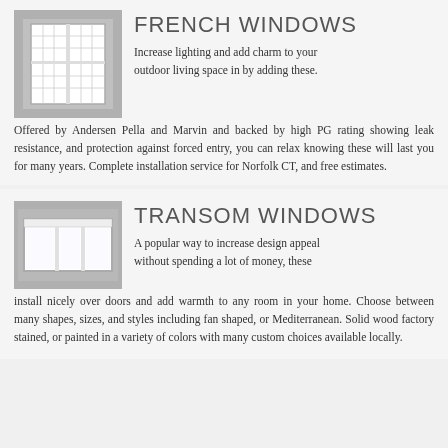FRENCH WINDOWS
[Figure (illustration): Illustration of a white French window with grid panes on a gray background]
Increase lighting and add charm to your outdoor living space in by adding these. Offered by Andersen Pella and Marvin and backed by high PG rating showing leak resistance, and protection against forced entry, you can relax knowing these will last you for many years. Complete installation service for Norfolk CT, and free estimates.
TRANSOM WINDOWS
[Figure (illustration): Illustration of a white transom window with rectangular panes on a gray background]
A popular way to increase design appeal without spending a lot of money, these install nicely over doors and add warmth to any room in your home. Choose between many shapes, sizes, and styles including fan shaped, or Mediterranean. Solid wood factory stained, or painted in a variety of colors with many custom choices available locally.